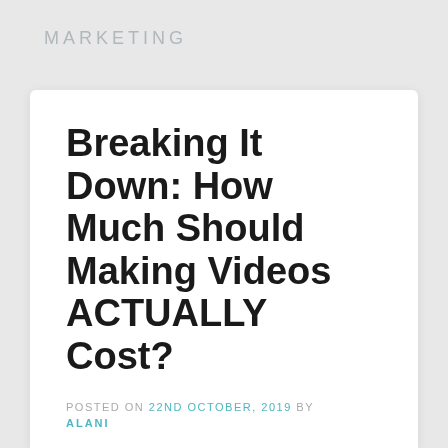MARKETING
Breaking It Down: How Much Should Making Videos ACTUALLY Cost?
POSTED ON 22ND OCTOBER, 2019 BY ALANI
Videos are the way to go in marketing